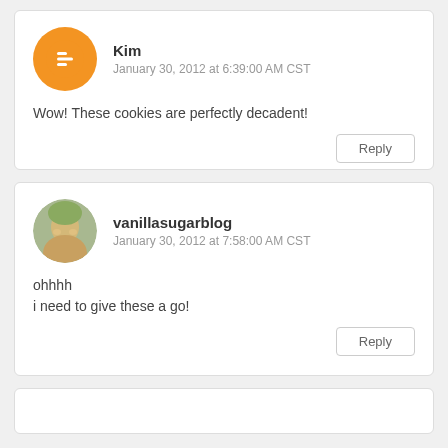Kim
January 30, 2012 at 6:39:00 AM CST
Wow! These cookies are perfectly decadent!
Reply
vanillasugarblog
January 30, 2012 at 7:58:00 AM CST
ohhhh
i need to give these a go!
Reply